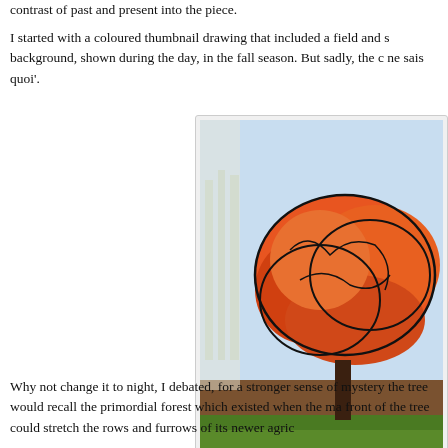contrast of past and present into the piece.
I started with a coloured thumbnail drawing that included a field and s background, shown during the day, in the fall season. But sadly, the c ne sais quoi'.
[Figure (illustration): A coloured thumbnail drawing showing a large red-orange tree with a field and green ground in the foreground, set against a light blue sky background, drawn in crayon/pastel style with black outlines.]
Drawing #1
Why not change it to night, I debated, for a stronger sense of mystery the tree would recall the primordial forest which existed when the ma front of the tree could stretch the rows and furrows of its newer agric
[Figure (illustration): A second thumbnail drawing showing the same red-orange tree at night, with a dark blue-black background and a crescent moon visible.]